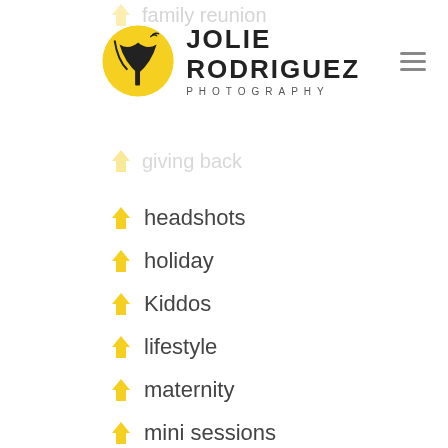[Figure (logo): Jolie Rodriguez Photography logo with circular tree icon and text]
family reunion (faded/partially visible)
giving back (faded/partially visible)
headshots
holiday
Kiddos
lifestyle
maternity
mini sessions
nature
newborn
Pets
school
Seniors